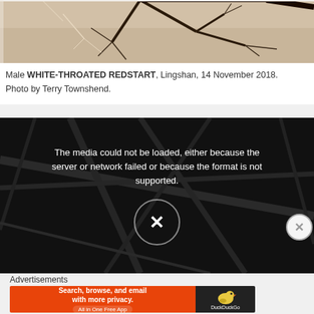[Figure (photo): Bird photo showing branches against a warm beige/tan sky background, partially cropped at top]
Male WHITE-THROATED REDSTART, Lingshan, 14 November 2018. Photo by Terry Townshend.
[Figure (screenshot): Video player showing error message: 'The media could not be loaded, either because the server or network failed or because the format is not supported.' with an X circle button in the center, overlaid on a dark image of branches]
Advertisements
[Figure (screenshot): DuckDuckGo advertisement banner: 'Search, browse, and email with more privacy. All in One Free App' on orange background with DuckDuckGo logo on dark right panel]